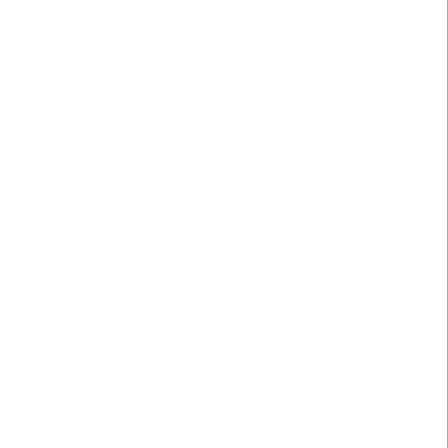Minimum Row Precharge Delay (tRP
Minimum Active to Precharge Dela
Minimum Active to Auto-Refresh D
Minimum Recovery Delay (tRFC1)
Minimum Recovery Delay (tRFC2)
Minimum Recovery Delay (tRFC4)
Minimum Four Activate Window Del
Minimum Row Active to Row Active
Minimum Row Active to Row Active
Minimum CAS to CAS Delay (tCCD_L
Minimum Write Recovery Time (tWR
Minimum Write to Read Time (tWTR
Minimum Write to Read Time (tWTR
---=== Other Information ===---
Package Type
Maximum Activate Count (MAC)
Post Package Repair
Soft PPR
Module Nominal Voltage
Thermal Sensor
---=== Physical Characteristics
Module Height
Module Thickness
Module Reference Card
---=== Manufacturer Data ===---
Module Manufacturer
DRAM Manufacturer
Manufacturing Location Code
Manufacturing Date